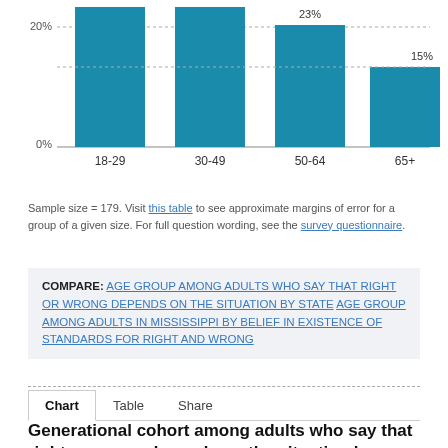[Figure (bar-chart): Age group among adults in Mississippi]
Sample size = 179. Visit this table to see approximate margins of error for a group of a given size. For full question wording, see the survey questionnaire.
COMPARE: AGE GROUP AMONG ADULTS WHO SAY THAT RIGHT OR WRONG DEPENDS ON THE SITUATION BY STATE   AGE GROUP AMONG ADULTS IN MISSISSIPPI BY BELIEF IN EXISTENCE OF STANDARDS FOR RIGHT AND WRONG
Chart   Table   Share
Generational cohort among adults who say that right or wrong depends on the situation by...